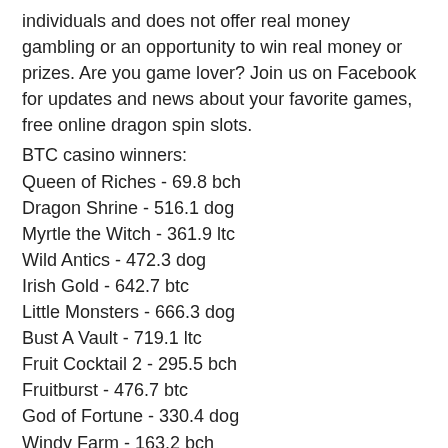individuals and does not offer real money gambling or an opportunity to win real money or prizes. Are you game lover? Join us on Facebook for updates and news about your favorite games, free online dragon spin slots.
BTC casino winners:
Queen of Riches - 69.8 bch
Dragon Shrine - 516.1 dog
Myrtle the Witch - 361.9 ltc
Wild Antics - 472.3 dog
Irish Gold - 642.7 btc
Little Monsters - 666.3 dog
Bust A Vault - 719.1 ltc
Fruit Cocktail 2 - 295.5 bch
Fruitburst - 476.7 btc
God of Fortune - 330.4 dog
Windy Farm - 163.2 bch
Captain Shark - 20 btc
White King - 124.2 ltc
Energy Stars - 566.9 bch